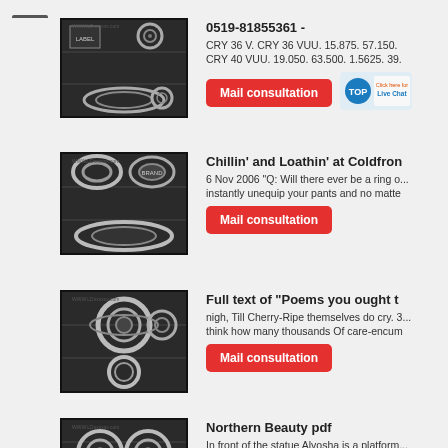[Figure (other): Hamburger menu icon, three horizontal bars]
[Figure (photo): Bearing parts product photo on black background, item 1]
0519-81855361 -
CRY 36 V. CRY 36 VUU. 15.875. 57.150. CRY 40 VUU. 19.050. 63.500. 1.5625. 39.
[Figure (other): Mail consultation red button]
[Figure (other): TOP Live Chat click here badge]
[Figure (photo): Bearing parts product photo on black background, item 2]
Chillin' and Loathin' at Coldfron
6 Nov 2006 "Q: Will there ever be a ring o... instantly unequip your pants and no matte
[Figure (other): Mail consultation red button]
[Figure (photo): Bearing parts product photo on black background, item 3]
Full text of "Poems you ought t
nigh, Till Cherry-Ripe themselves do cry. 3... think how many thousands Of care-encum
[Figure (other): Mail consultation red button]
[Figure (photo): Bearing parts product photo on black background, item 4]
Northern Beauty pdf
In front of the statue Alyosha is a platform ... and there's nothing left to do but cry."36.